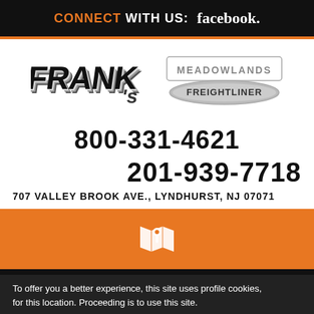CONNECT WITH US: facebook.
[Figure (logo): Frank's and Meadowlands Freightliner logos side by side]
800-331-4621
201-939-7718
707 VALLEY BROOK AVE., LYNDHURST, NJ 07071
[Figure (infographic): Map pin icon on orange background banner]
[Figure (infographic): Hamburger menu icon (three horizontal lines) on black background]
WEBSITE PRIVACY POLICY
To offer you a better experience, this site uses profile cookies, for this location. Proceeding is to use this site.